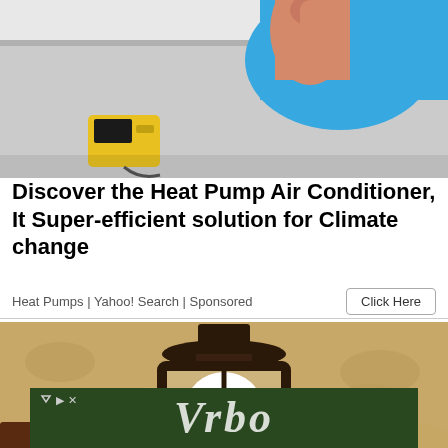[Figure (photo): Technician in blue shirt installing or servicing a wall-mounted air conditioner unit, holding a yellow diagnostic device]
Discover the Heat Pump Air Conditioner, It Super-efficient solution for Climate change
Heat Pumps | Yahoo! Search | Sponsored
[Figure (photo): Close-up of an outdoor wall-mounted lantern lamp with a white globe bulb on a tan stucco wall]
[Figure (logo): Vrbo advertisement banner with Vrbo logo in italic white text on dark green background]